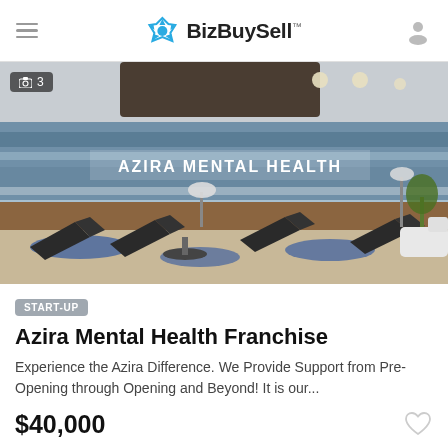BizBuySell
[Figure (photo): Interior lobby of Azira Mental Health facility with dark modern chairs, blue patterned carpet, a large wall sign reading AZIRA MENTAL HEALTH, and warm lighting. Photo counter shows 3 images.]
3
START-UP
Azira Mental Health Franchise
Experience the Azira Difference. We Provide Support from Pre-Opening through Opening and Beyond! It is our...
$40,000
[Figure (photo): Partial view of a fitness/health related image, partially visible at bottom of page. Photo counter shows 2 images.]